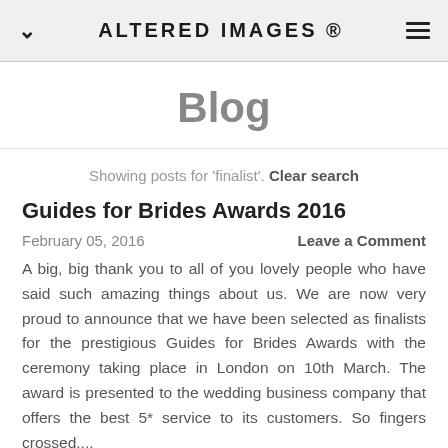ALTERED IMAGES ®
Blog
Showing posts for 'finalist'. Clear search
Guides for Brides Awards 2016
February 05, 2016   Leave a Comment
A big, big thank you to all of you lovely people who have said such amazing things about us. We are now very proud to announce that we have been selected as finalists for the prestigious Guides for Brides Awards with the ceremony taking place in London on 10th March. The award is presented to the wedding business company that offers the best 5* service to its customers. So fingers crossed....